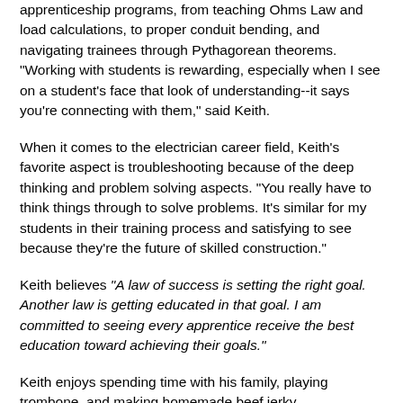apprenticeship programs, from teaching Ohms Law and load calculations, to proper conduit bending, and navigating trainees through Pythagorean theorems. "Working with students is rewarding, especially when I see on a student's face that look of understanding--it says you're connecting with them," said Keith.
When it comes to the electrician career field, Keith's favorite aspect is troubleshooting because of the deep thinking and problem solving aspects. "You really have to think things through to solve problems. It's similar for my students in their training process and satisfying to see because they're the future of skilled construction."
Keith believes "A law of success is setting the right goal. Another law is getting educated in that goal. I am committed to seeing every apprentice receive the best education toward achieving their goals."
Keith enjoys spending time with his family, playing trombone, and making homemade beef jerky.
Degrees, Certification/Licenses, Industry Involvement
CA-Certified General Electrician